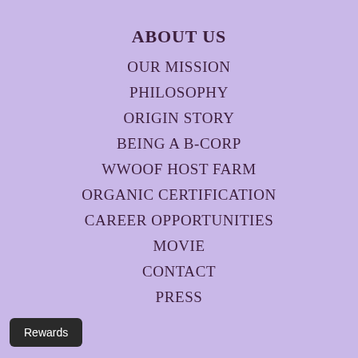ABOUT US
OUR MISSION
PHILOSOPHY
ORIGIN STORY
BEING A B-CORP
WWOOF HOST FARM
ORGANIC CERTIFICATION
CAREER OPPORTUNITIES
MOVIE
CONTACT
PRESS
Rewards